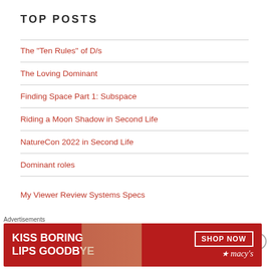TOP POSTS
The "Ten Rules" of D/s
The Loving Dominant
Finding Space Part 1: Subspace
Riding a Moon Shadow in Second Life
NatureCon 2022 in Second Life
Dominant roles
My Viewer Review Systems Specs
VIRTUAL COMMUNITY RADIO
Advertisements
[Figure (illustration): Macy's advertisement banner: Kiss Boring Lips Goodbye with Shop Now button and Macy's logo on red background with woman's face]